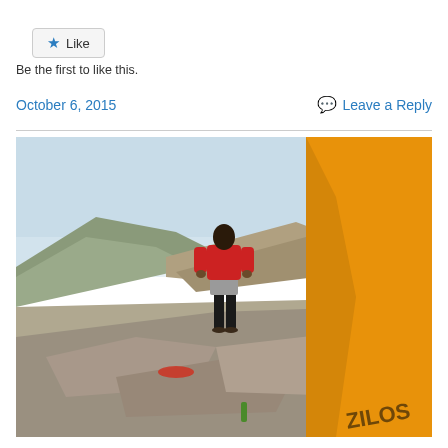[Figure (other): Like button with star icon]
Be the first to like this.
October 6, 2015    Leave a Reply
[Figure (photo): A person in a red jacket standing on a rocky cliff edge overlooking a canyon landscape, with an orange camping tent visible in the foreground right side.]